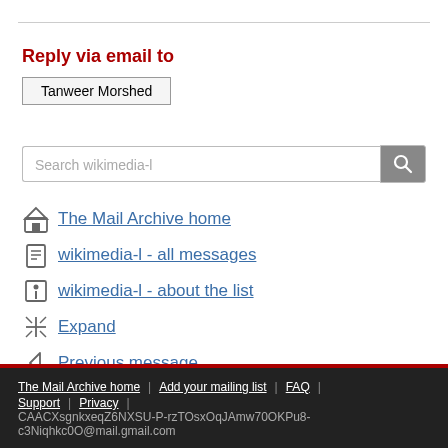Reply via email to
Tanweer Morshed
The Mail Archive home
wikimedia-l - all messages
wikimedia-l - about the list
Expand
Previous message
Next message
The Mail Archive home | Add your mailing list | FAQ | Support | Privacy | CAACXsgnkxeqZ6NXSU-P-rzTOsxOqJAmw70OKPu8-c3Niqhkc0O@mail.gmail.com